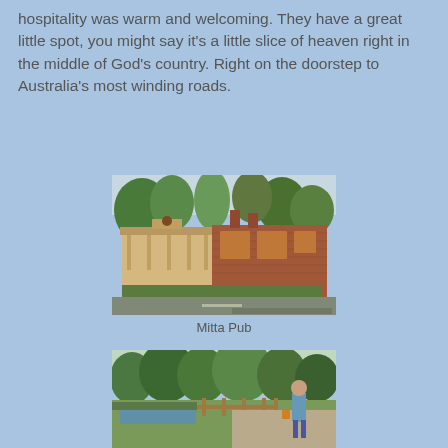hospitality was warm and welcoming. They have a great little spot, you might say it's a little slice of heaven right in the middle of God's country. Right on the doorstep to Australia's most winding roads.
[Figure (photo): Exterior photograph of the Mitta Pub, a heritage-style building with a covered verandah on the left, brick extension on the right, surrounded by green trees, with a road in the foreground.]
Mitta Pub
[Figure (photo): A person standing on a gravel path near a creek or river, with green trees and grass in the background, on a sunny day.]